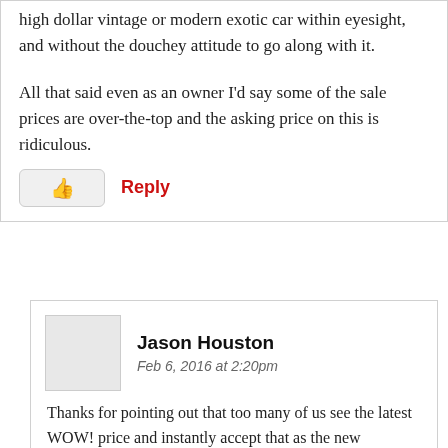high dollar vintage or modern exotic car within eyesight, and without the douchey attitude to go along with it.
All that said even as an owner I'd say some of the sale prices are over-the-top and the asking price on this is ridiculous.
[Like button] Reply
Jason Houston
Feb 6, 2016 at 2:20pm
Thanks for pointing out that too many of us see the latest WOW! price and instantly accept that as the new benchmark of value, when nothing could be further from the truth. How many times have we asked a seller,